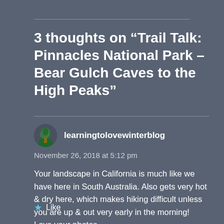3 thoughts on “Trail Talk: Pinnacles National Park – Bear Gulch Caves to the High Peaks”
learningtolovewinterblog
November 26, 2018 at 5:12 pm
Your landscape in California is much like we have here in South Australia. Also gets very hot & dry here, which makes hiking difficult unless you are up & out very early in the morning! Love your photos.
Like